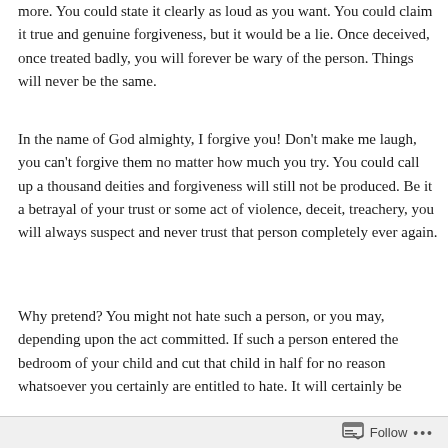more. You could state it clearly as loud as you want. You could claim it true and genuine forgiveness, but it would be a lie. Once deceived, once treated badly, you will forever be wary of the person. Things will never be the same.
In the name of God almighty, I forgive you! Don't make me laugh, you can't forgive them no matter how much you try. You could call up a thousand deities and forgiveness will still not be produced. Be it a betrayal of your trust or some act of violence, deceit, treachery, you will always suspect and never trust that person completely ever again.
Why pretend? You might not hate such a person, or you may, depending upon the act committed. If such a person entered the bedroom of your child and cut that child in half for no reason whatsoever you certainly are entitled to hate. It will certainly be
Follow